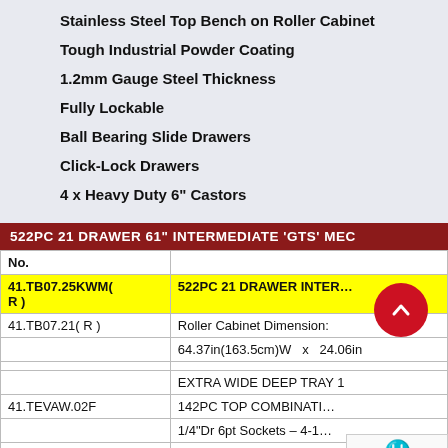Stainless Steel Top Bench on Roller Cabinet
Tough Industrial Powder Coating
1.2mm Gauge Steel Thickness
Fully Lockable
Ball Bearing Slide Drawers
Click-Lock Drawers
4 x Heavy Duty 6" Castors
| No. |  |
| --- | --- |
| 41.TB07.25KWM(R) | 522PC 21 DRAWER INTER... |
| 41.TB07.21( R ) | Roller Cabinet  Dimension: |
|  | 64.37in(163.5cm)W  x  24.06in |
|  |  |
|  | EXTRA WIDE DEEP TRAY 1 |
| 41.TEVAW.02F | 142PC TOP COMBINATI... |
|  | 1/4"Dr 6pt Sockets – 4-1... |
|  | 3/8"Dr 6pt Sockets – 9-1... |
|  | 1/2" Dr 12pt Sockets – 8-32mm ... |